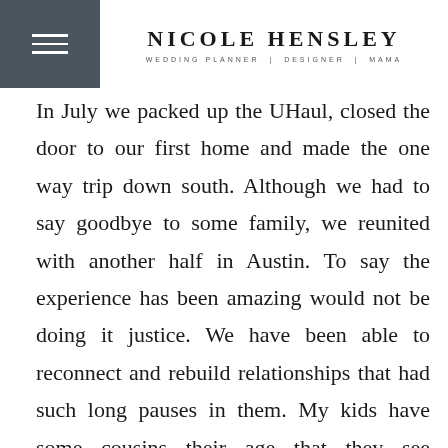NICOLE HENSLEY – WEDDING PLANNER | DESIGNER | MAMA
In July we packed up the UHaul, closed the door to our first home and made the one way trip down south. Although we had to say goodbye to some family, we reunited with another half in Austin. To say the experience has been amazing would not be doing it justice. We have been able to reconnect and rebuild relationships that had such long pauses in them. My kids have some cousins their age that they see somewhat often and we are so happy to be